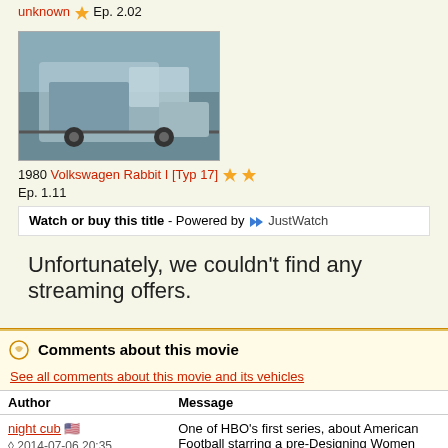unknown ★ Ep. 2.02
[Figure (photo): Thumbnail image of a vehicle scene from a movie/TV show]
1980 Volkswagen Rabbit I [Typ 17] ★★ Ep. 1.11
Watch or buy this title - Powered by JustWatch
Unfortunately, we couldn't find any streaming offers.
Comments about this movie
See all comments about this movie and its vehicles
| Author | Message |
| --- | --- |
| night cub 🇺🇸 ◊ 2014-07-06 20:35 | One of HBO's first series, about American Football starring a pre-Designing Women Delta Burke, and later Shana Reed, then Shannon Tweed and OJ Simpson. |
[Figure (photo): Image showing '1st TEN' text with colorful background, likely a movie/show cover]